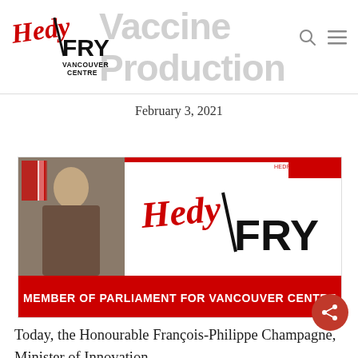Hedy Fry Vancouver Centre — navigation header with logo and watermark title 'Vaccine Production'
February 3, 2021
[Figure (illustration): Hedy Fry MP banner graphic: photo of Hedy Fry on left, red cursive 'Hedy / FRY' logo on right, red bar at bottom reading 'MEMBER OF PARLIAMENT FOR VANCOUVER CENTRE']
Today, the Honourable François-Philippe Champagne, Minister of Innovation,